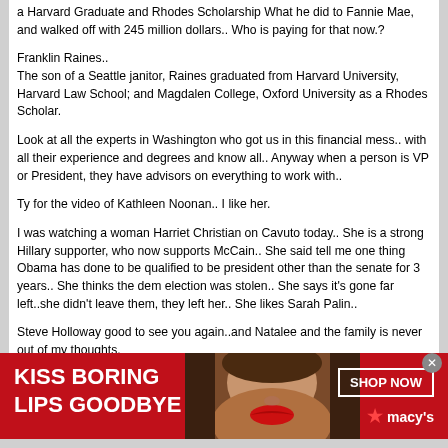a Harvard Graduate and Rhodes Scholarship What he did to Fannie Mae, and walked off with 245 million dollars.. Who is paying for that now.?
Franklin Raines..
The son of a Seattle janitor, Raines graduated from Harvard University, Harvard Law School; and Magdalen College, Oxford University as a Rhodes Scholar.
Look at all the experts in Washington who got us in this financial mess.. with all their experience and degrees and know all.. Anyway when a person is VP or President, they have advisors on everything to work with..
Ty for the video of Kathleen Noonan.. I like her.
I was watching a woman Harriet Christian on Cavuto today.. She is a strong Hillary supporter, who now supports McCain.. She said tell me one thing Obama has done to be qualified to be president other than the senate for 3 years.. She thinks the dem election was stolen.. She says it's gone far left..she didn't leave them, they left her.. She likes Sarah Palin..
Steve Holloway good to see you again..and Natalee and the family is never out of my thoughts.
[Figure (photo): Macy's advertisement banner with red background, woman's face with red lips, text 'KISS BORING LIPS GOODBYE' on left, 'SHOP NOW' button and Macy's star logo on right]